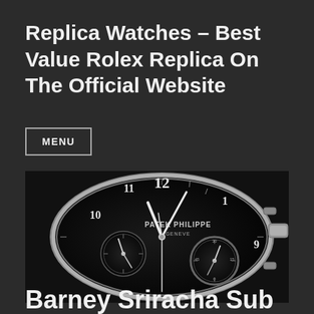Replica Watches – Best Value Rolex Replica On The Official Website
MENU
[Figure (photo): Close-up photograph of a Patek Philippe Geneve luxury watch with a black dial, chronograph subdials, and silver case and hands]
Barney Sriracha Sub